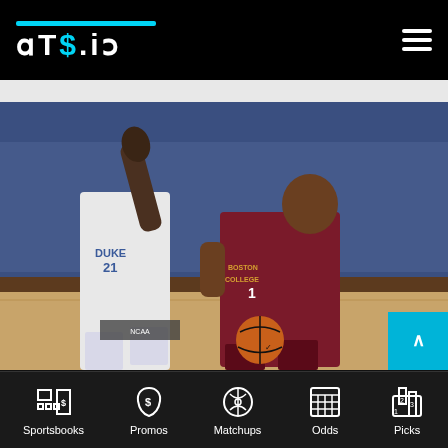ATS.io
[Figure (photo): Basketball game photo showing a Boston College player (#1) in maroon uniform dribbling past a Duke player (#21) in white uniform, with a packed arena crowd in blue seating in the background.]
Sportsbooks | Promos | Matchups | Odds | Picks